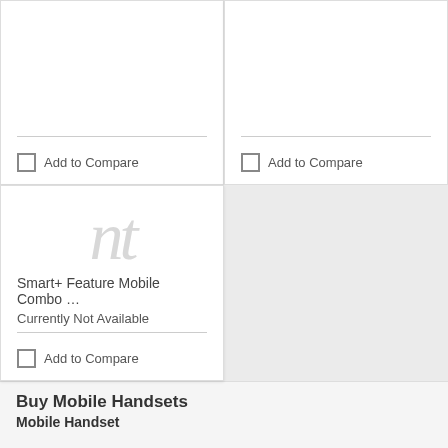Add to Compare
Add to Compare
[Figure (illustration): Placeholder image showing the letters 'nt' in a large, light gray serif italic font, representing a product with no image available]
Smart+ Feature Mobile Combo …
Currently Not Available
Add to Compare
Buy Mobile Handsets
Mobile Handset